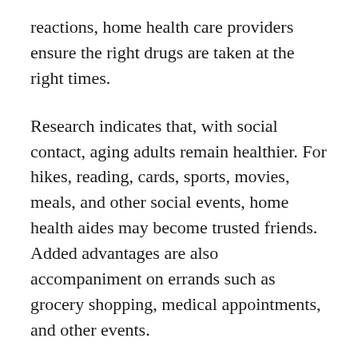reactions, home health care providers ensure the right drugs are taken at the right times.
Research indicates that, with social contact, aging adults remain healthier. For hikes, reading, cards, sports, movies, meals, and other social events, home health aides may become trusted friends. Added advantages are also accompaniment on errands such as grocery shopping, medical appointments, and other events.
Home health care isn't for everyone and sometimes an aged care facility is a must with 24/7 care for your loved ones. There are many things to take in to consideration when assessing your family's needs and wants when it comes to aged care or in-home